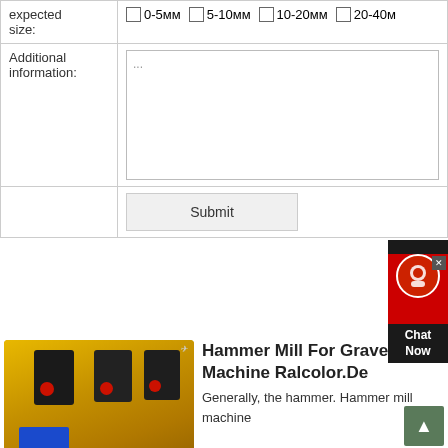| expected size: | ☐ 0-5мм  ☐ 5-10мм  ☐ 10-20мм  ☐ 20-40м |
| Additional information: | ... |
|  | Submit |
[Figure (photo): Industrial yellow hammer mill / crusher machines on an elevated platform with dark grinding units and red accents]
Hammer Mill For Gravelgravel Machine Ralcolor.De
Generally, the hammer. Hammer mill machine
Hammer mill grinder YouTube. Nov 09, 2013· Hammer mill